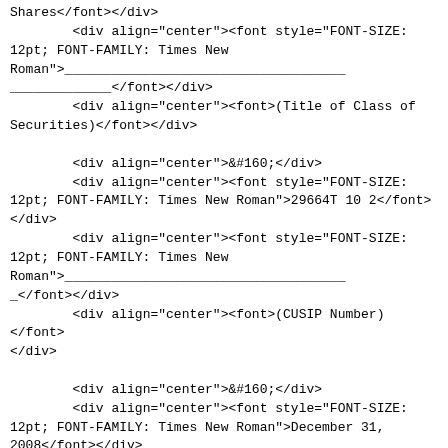Shares</font></div>
        <div align="center"><font style="FONT-SIZE: 12pt; FONT-FAMILY: Times New Roman">____________________________________
_____________</font></div>
        <div align="center"><font>(Title of Class of Securities)</font></div>

        <div align="center">&#160;</div>
        <div align="center"><font style="FONT-SIZE: 12pt; FONT-FAMILY: Times New Roman">29664T 10 2</font></div>
        <div align="center"><font style="FONT-SIZE: 12pt; FONT-FAMILY: Times New Roman">____________________________________
_</font></div>
        <div align="center"><font>(CUSIP Number)</font></div>

        <div align="center">&#160;</div>
        <div align="center"><font style="FONT-SIZE: 12pt; FONT-FAMILY: Times New Roman">December 31, 2008</font></div>
        <div align="center"><font style="FONT-SIZE: 12pt; FONT-FAMILY: Times New Roman">____________________________________
______________</font></div>
</font></div>
        <div align="center"><font>(Date of Event which Requires Filing of Statement)